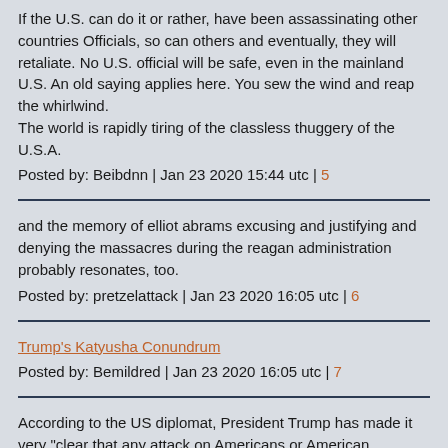If the U.S. can do it or rather, have been assassinating other countries Officials, so can others and eventually, they will retaliate. No U.S. official will be safe, even in the mainland U.S. An old saying applies here. You sew the wind and reap the whirlwind.
The world is rapidly tiring of the classless thuggery of the U.S.A.
Posted by: Beibdnn | Jan 23 2020 15:44 utc | 5
and the memory of elliot abrams excusing and justifying and denying the massacres during the reagan administration probably resonates, too.
Posted by: pretzelattack | Jan 23 2020 16:05 utc | 6
Trump's Katyusha Conundrum
Posted by: Bemildred | Jan 23 2020 16:05 utc | 7
According to the US diplomat, President Trump has made it very "clear that any attack on Americans or American interests will be met with a decisive response, which the president demonstrated on January 2".